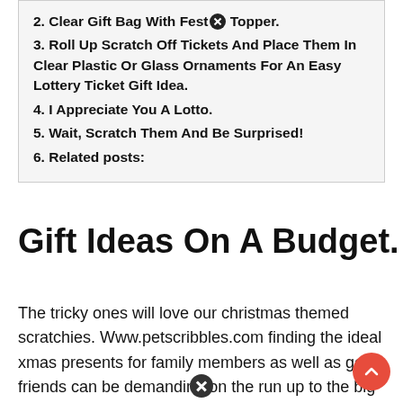2. Clear Gift Bag With Festive Topper.
3. Roll Up Scratch Off Tickets And Place Them In Clear Plastic Or Glass Ornaments For An Easy Lottery Ticket Gift Idea.
4. I Appreciate You A Lotto.
5. Wait, Scratch Them And Be Surprised!
6. Related posts:
Gift Ideas On A Budget.
The tricky ones will love our christmas themed scratchies. Www.petscribbles.com finding the ideal xmas presents for family members as well as good friends can be demanding on the run up to the big day. Giving a scratch ticket as a holiday gift is sure to put a smile on the lucky recipient's face, and it might just bring them some christmas magic too!